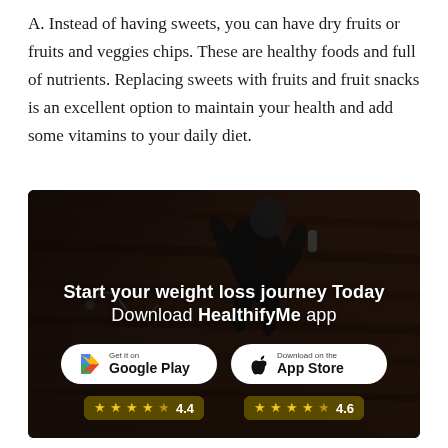A. Instead of having sweets, you can have dry fruits or fruits and veggies chips. These are healthy foods and full of nutrients. Replacing sweets with fruits and fruit snacks is an excellent option to maintain your health and add some vitamins to your daily diet.
[Figure (infographic): Dark advertisement banner showing a person lying on a wooden floor viewed from above, with text 'Start your weight loss journey Today Download HealthifyMe app', Google Play and App Store download buttons, and star ratings of 4.4 and 4.6.]